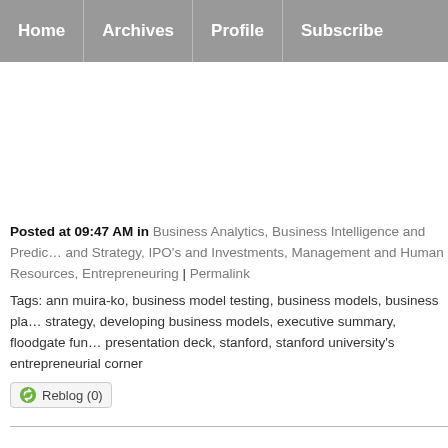Home | Archives | Profile | Subscribe
Posted at 09:47 AM in Business Analytics, Business Intelligence and Predictive Analytics and Strategy, IPO's and Investments, Management and Human Resources, Entrepreneuring | Permalink
Tags: ann muira-ko, business model testing, business models, business plan strategy, developing business models, executive summary, floodgate fund, presentation deck, stanford, stanford university's entrepreneurial corner
Reblog (0)
Comments
You can follow this conversation by subscribing to the comment fe…